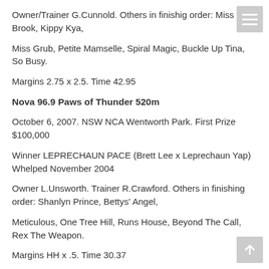Owner/Trainer G.Cunnold. Others in finishig order: Miss Brook, Kippy Kya,
Miss Grub, Petite Mamselle, Spiral Magic, Buckle Up Tina, So Busy.
Margins 2.75 x 2.5. Time 42.95
Nova 96.9 Paws of Thunder 520m
October 6, 2007. NSW NCA Wentworth Park. First Prize $100,000
Winner LEPRECHAUN PACE (Brett Lee x Leprechaun Yap) Whelped November 2004
Owner L.Unsworth. Trainer R.Crawford. Others in finishing order: Shanlyn Prince, Bettys' Angel,
Meticulous, One Tree Hill, Runs House, Beyond The Call, Rex The Weapon.
Margins HH x .5. Time 30.37
TOPGUN 525m